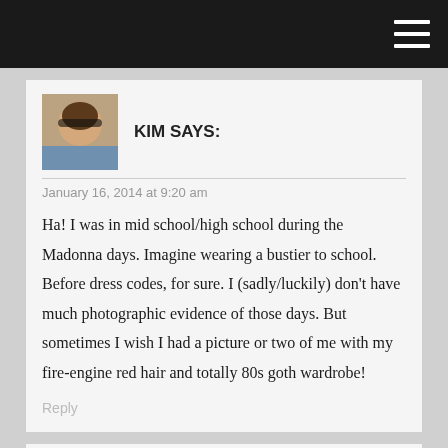[Figure (photo): Avatar photo of Kim, a woman with sunglasses outdoors]
KIM SAYS:
January 16, 2014 at 9:20 am
Ha! I was in mid school/high school during the Madonna days. Imagine wearing a bustier to school. Before dress codes, for sure. I (sadly/luckily) don't have much photographic evidence of those days. But sometimes I wish I had a picture or two of me with my fire-engine red hair and totally 80s goth wardrobe!
Reply
[Figure (photo): Avatar photo of Shauna, a woman with dark hair]
SHAUNA SAYS: